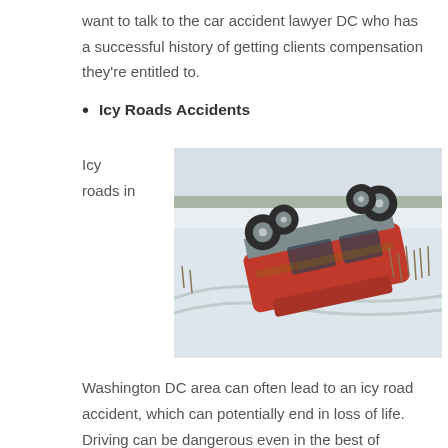want to talk to the car accident lawyer DC who has a successful history of getting clients compensation they're entitled to.
Icy Roads Accidents
Icy roads in
[Figure (photo): An overturned red car lying on its roof in a snowy field off an icy road, wheels facing upward.]
Washington DC area can often lead to an icy road accident, which can potentially end in loss of life. Driving can be dangerous even in the best of circumstances but when there